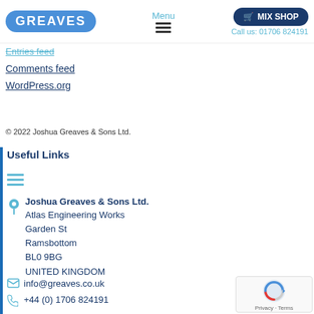GREAVES | Menu | MIX SHOP | Call us: 01706 824191
Entries feed
Comments feed
WordPress.org
© 2022 Joshua Greaves & Sons Ltd.
Useful Links
Joshua Greaves & Sons Ltd.
Atlas Engineering Works
Garden St
Ramsbottom
BL0 9BG
UNITED KINGDOM
info@greaves.co.uk
+44 (0) 1706 824191